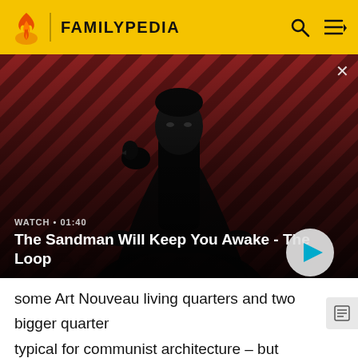FAMILYPEDIA
[Figure (screenshot): Video thumbnail for 'The Sandman Will Keep You Awake - The Loop' showing a dark-cloaked figure with a raven on shoulder against a red diagonal striped background. Overlay shows WATCH • 01:40 label and play button.]
WATCH • 01:40
The Sandman Will Keep You Awake - The Loop
some Art Nouveau living quarters and two bigger quarters typical for communist architecture – but much renovated – can be found. The villa town of Radebeul joins the Dresden city tram system, which is expansive due to the lack of an underground system.